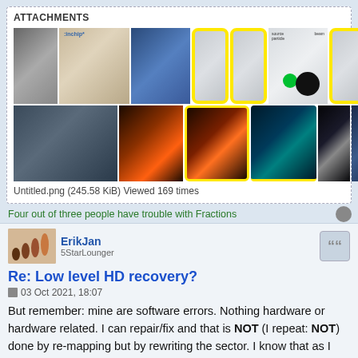ATTACHMENTS
[Figure (photo): Grid of images: smoke, camera, cloud/smoke, yellow-bordered diagram overlay on cloud, physics diagram, circular device, rocks, fire explosion, smoke fire, teal glow, astronaut, screenshot]
Untitled.png (245.58 KiB) Viewed 169 times
Four out of three people have trouble with Fractions
ErikJan
5StarLounger
Re: Low level HD recovery?
03 Oct 2021, 18:07
But remember: mine are software errors. Nothing hardware or hardware related. I can repair/fix and that is NOT (I repeat: NOT) done by re-mapping but by rewriting the sector. I know that as I selected that option (and remapping was another option that I did not select).